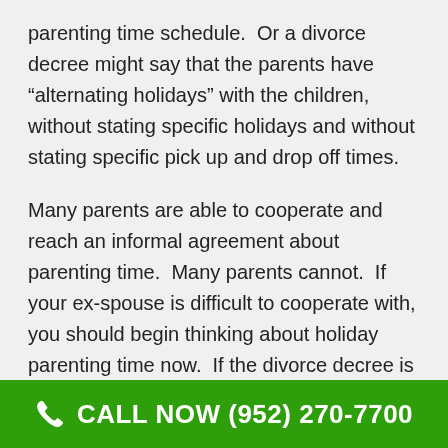parenting time schedule.  Or a divorce decree might say that the parents have “alternating holidays” with the children, without stating specific holidays and without stating specific pick up and drop off times.
Many parents are able to cooperate and reach an informal agreement about parenting time.  Many parents cannot.  If your ex-spouse is difficult to cooperate with, you should begin thinking about holiday parenting time now.  If the divorce decree is not specific about holiday parenting time and your ex-spouse is difficult to deal with...
CALL NOW (952) 270-7700